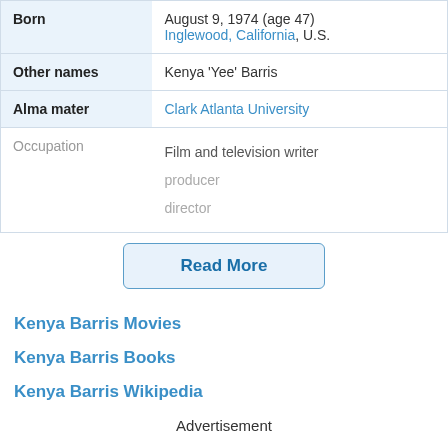| Field | Value |
| --- | --- |
| Born | August 9, 1974 (age 47)
Inglewood, California, U.S. |
| Other names | Kenya 'Yee' Barris |
| Alma mater | Clark Atlanta University |
| Occupation | Film and television writer
producer
director |
Read More
Kenya Barris Movies
Kenya Barris Books
Kenya Barris Wikipedia
Advertisement